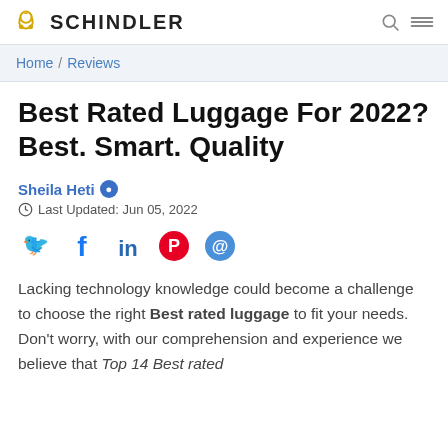SCHINDLER
Home / Reviews
Best Rated Luggage For 2022? Best. Smart. Quality
Sheila Heti Ⓘ
Last Updated: Jun 05, 2022
[Figure (other): Social media share icons: Twitter, Facebook, LinkedIn, Pinterest, Email]
Lacking technology knowledge could become a challenge to choose the right Best rated luggage to fit your needs. Don't worry, with our comprehension and experience we believe that Top 14 Best rated